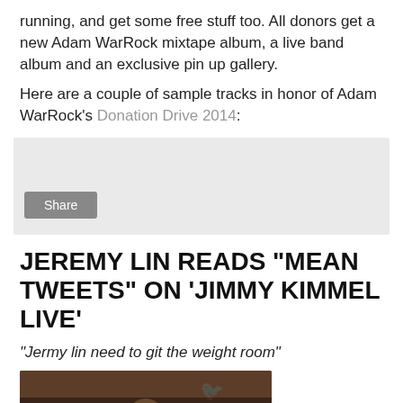running, and get some free stuff too. All donors get a new Adam WarRock mixtape album, a live band album and an exclusive pin up gallery.
Here are a couple of sample tracks in honor of Adam WarRock's Donation Drive 2014:
[Figure (other): Embedded audio player widget with a Share button on a light grey background]
JEREMY LIN READS "MEAN TWEETS" ON 'JIMMY KIMMEL LIVE'
"Jermy lin need to git the weight room"
[Figure (photo): Photo of Jeremy Lin, partially visible, dark background with faint Twitter bird silhouettes]